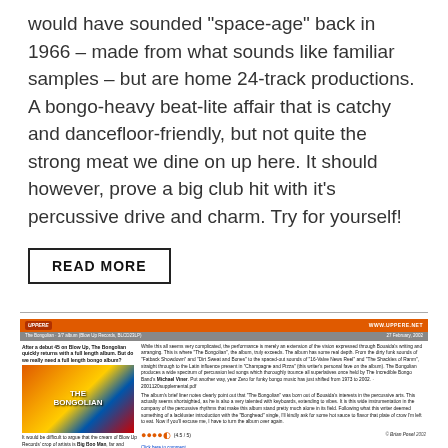would have sounded “space-age” back in 1966 – made from what sounds like familiar samples – but are home 24-track productions. A bongo-heavy beat-lite affair that is catchy and dancefloor-friendly, but not quite the strong meat we dine on up here. It should however, prove a big club hit with it’s percussive drive and charm. Try for yourself!
READ MORE
[Figure (screenshot): Review clipping of The Bongolian album on Blow Up Records, featuring album art with orange/yellow/blue design, review text, and a 4.5/5 rating with orange stars. Byline: Brian Posel 2002.]